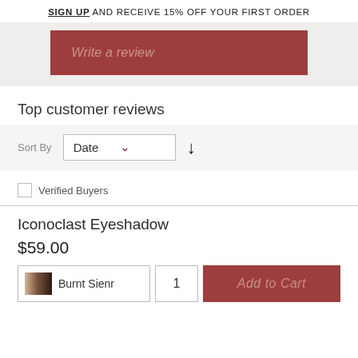SIGN UP AND RECEIVE 15% OFF YOUR FIRST ORDER
[Figure (screenshot): Dark red/terracotta 'Write a review' button on light grey background]
Top customer reviews
[Figure (screenshot): Sort By dropdown showing 'Date' with chevron and down arrow, on grey background]
Verified Buyers
Iconoclast Eyeshadow
$59.00
[Figure (screenshot): Color selector showing 'Burnt Sienr' swatch, quantity box showing 1, and 'Add to Cart' button in terracotta]